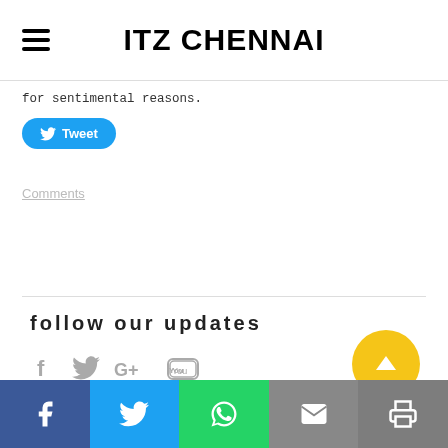ITZ CHENNAI
for sentimental reasons.
[Figure (other): Twitter Tweet button (blue rounded pill with bird icon and 'Tweet' text)]
Comments
follow our updates
[Figure (other): Social media icons: Facebook, Twitter, Google+, YouTube in grey]
[Figure (other): Yellow circular up-arrow scroll-to-top button]
Share bar with Facebook, Twitter, WhatsApp, Email, Print icons